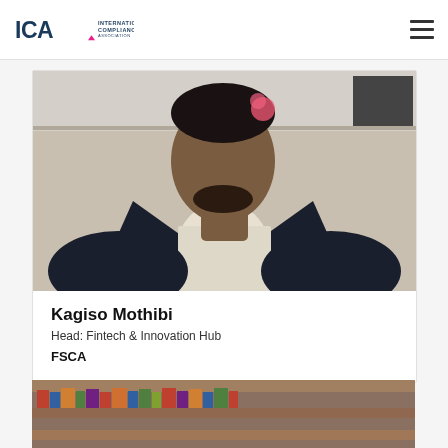ICA International Compliance Association
[Figure (photo): Profile photo of Kagiso Mothibi, a man in a dark blazer and light shirt, photographed from the chest up in an indoor setting]
Kagiso Mothibi
Head: Fintech & Innovation Hub
FSCA
[Figure (photo): Partial photo showing a blurred bookshelf background, bottom of page]